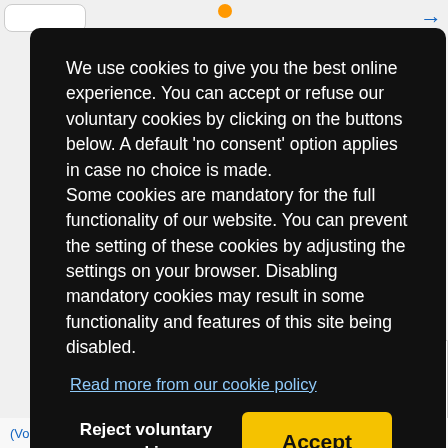We use cookies to give you the best online experience. You can accept or refuse our voluntary cookies by clicking on the buttons below. A default 'no consent' option applies in case no choice is made. Some cookies are mandatory for the full functionality of our website. You can prevent the setting of these cookies by adjusting the settings on your browser. Disabling mandatory cookies may result in some functionality and features of this site being disabled.
Read more from our cookie policy
Reject voluntary cookies
Accept
(Vodacom), Other Online Wallet, Other Online Wallet